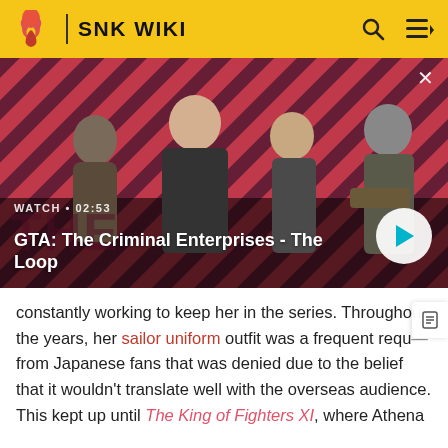SNK WIKI
[Figure (screenshot): Video thumbnail for 'GTA: The Criminal Enterprises - The Loop' showing four characters on a diagonal red and dark striped background. Label reads WATCH • 02:53 with a play button.]
constantly working to keep her in the series. Throughout the years, her sailor uniform outfit was a frequent requ from Japanese fans that was denied due to the belief that it wouldn't translate well with the overseas audience. This kept up until The King of Fighters XI, where Athena